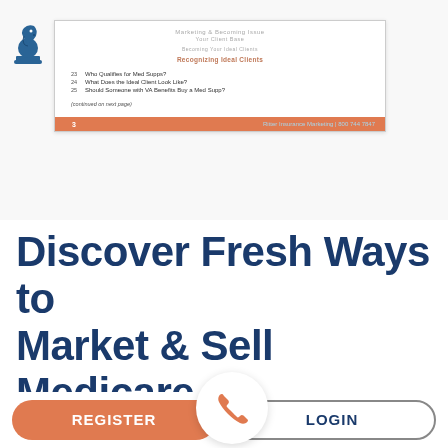[Figure (screenshot): Preview of a document page showing a table of contents for a Medicare Supplement guide. Items include 'Who Qualifies for Med Supps?', 'What Does the Ideal Client Look Like?', 'Should Someone with VA Benefits Buy a Med Supp?', followed by '(continued on next page)'. Footer shows page number 3 and 'Ritter Insurance Marketing | 800 769 1847'. A chess knight logo appears top left.]
Discover Fresh Ways to Market & Sell Medicare Supplement Plans
Have some experience selling Medigap plans? How's your closing rate? In the guide, we share
REGISTER
LOGIN